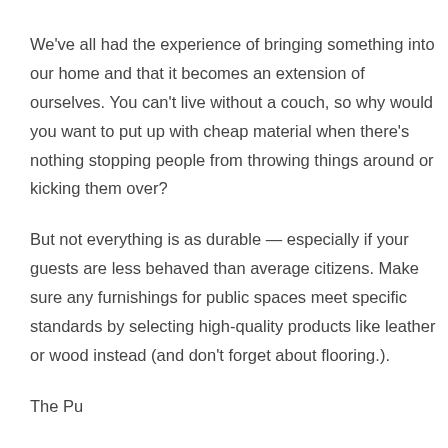We've all had the experience of bringing something into our home and that it becomes an extension of ourselves. You can't live without a couch, so why would you want to put up with cheap material when there's nothing stopping people from throwing things around or kicking them over?
But not everything is as durable — especially if your guests are less behaved than average citizens. Make sure any furnishings for public spaces meet specific standards by selecting high-quality products like leather or wood instead (and don't forget about flooring.).
The Pu…